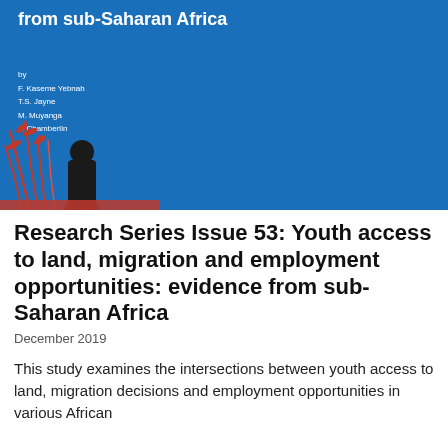[Figure (illustration): Blue cover image of a research publication showing the title 'from sub-Saharan Africa' in white text at the top, author names listed below (F. Kaseme Yebnah, T.S. Jayne, M. Muyanga, J. Chamberlin), and decorative red and dark silhouette graphic elements at the bottom left.]
Research Series Issue 53: Youth access to land, migration and employment opportunities: evidence from sub-Saharan Africa
December 2019
This study examines the intersections between youth access to land, migration decisions and employment opportunities in various African